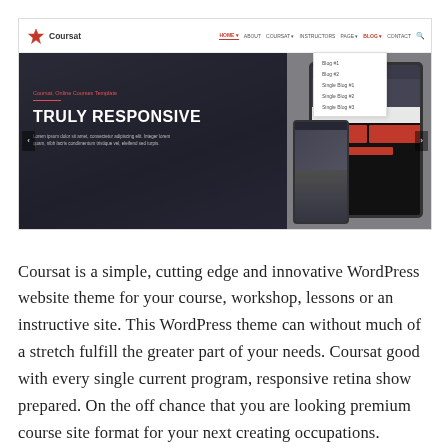[Figure (screenshot): Screenshot of the Coursat WordPress theme website showing a navigation bar with logo and menu items (HOME, ABOUT, COURSAT, INSTRUCTORS, PAGE, BLOG, CONTACT), a dropdown under BLOG with items (Blog #1, Blog #2, Single Blog #1, Single Blog #2, Single Blog #3), and a hero section with dark background showing 'TRULY RESPONSIVE' heading and device mockups (tablet and phone).]
Coursat is a simple, cutting edge and innovative WordPress website theme for your course, workshop, lessons or an instructive site. This WordPress theme can without much of a stretch fulfill the greater part of your needs. Coursat good with every single current program, responsive retina show prepared. On the off chance that you are looking premium course site format for your next creating occupations.